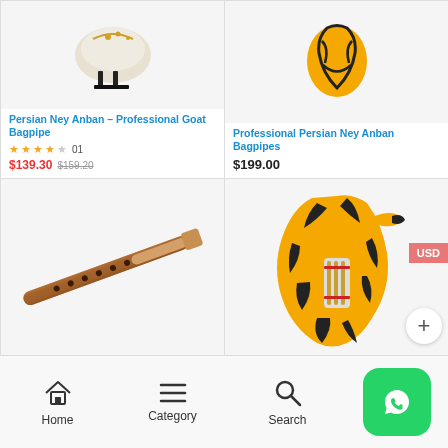[Figure (photo): Persian Ney Anban goat bagpipe product photo, cream/white instrument with black stand]
Persian Ney Anban – Professional Goat Bagpipe
★★★★☆ 01
$139.30 $159.20
[Figure (photo): Professional Persian Ney Anban bagpipe, black and yellow patterned body]
Professional Persian Ney Anban Bagpipes
$199.00
[Figure (photo): Wooden Persian flute/ney instrument, diagonal view, brown wood with holes]
[Figure (photo): Yellow and black patterned Persian Ney Anban bagpipe body]
Home  Category  Search  WhatsApp